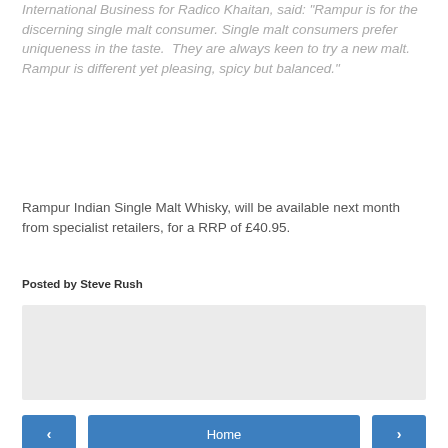International Business for Radico Khaitan, said: "Rampur is for the discerning single malt consumer. Single malt consumers prefer uniqueness in the taste.  They are always keen to try a new malt. Rampur is different yet pleasing, spicy but balanced."
Rampur Indian Single Malt Whisky, will be available next month from specialist retailers, for a RRP of £40.95.
Posted by Steve Rush
[Figure (other): Social share widget box with a Share button]
Home navigation bar with previous and next arrows
View web version
Powered by Blogger.